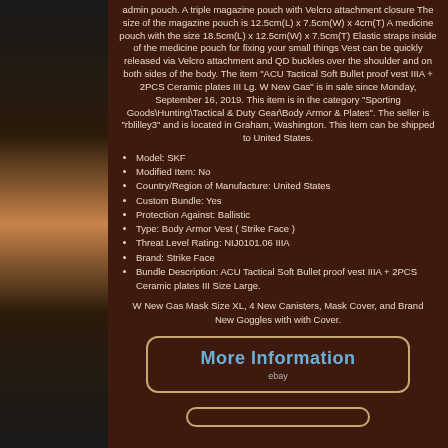[Figure (photo): Left side panel showing a black tactical vest/body armor on a person, partially visible]
admin pouch. A triple magazine pouch with Velcro attachment closure The size of the magazine pouch is 12.5cm(L) x 7.5cm(W) x 4cm(T) A medicine pouch with the size 18.5cm(L) x 12.5cm(W) x 7.5cm(T) Elastic straps inside of the medicine pouch for fixing your small things Vest can be quickly released via Velcro attachment and QD buckles over the shoulder and on both sides of the body. The item "ACU Tactical Soft Bullet proof vest IIIA + 2PCS Ceramic plates III Lg. W New Gas" is in sale since Monday, September 16, 2019. This item is in the category "Sporting Goods\Hunting\Tactical & Duty Gear\Body Armor & Plates". The seller is "rblilley3" and is located in Graham, Washington. This item can be shipped to United States.
Model: SKF
Modified Item: No
Country/Region of Manufacture: United States
Custom Bundle: Yes
Protection Against: Ballistic
Type: Body Armor Vest ( Strike Face )
Threat Level Rating: NIJ0101.06 IIIA
Brand: Strike Face
Bundle Description: ACU Tactical Soft Bullet proof vest IIIA + 2PCS Ceramic plates III Size Large.
W New Gas Mask Size XL, 4 New Canisters, Mask Cover, and Brand New Goggles with with Cover.
[Figure (other): More Information button with eBay logo/text, rounded rectangle border in gold color]